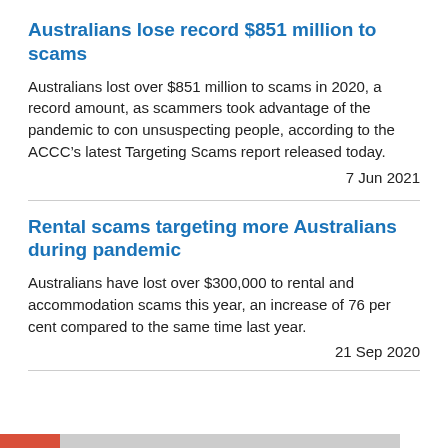Australians lose record $851 million to scams
Australians lost over $851 million to scams in 2020, a record amount, as scammers took advantage of the pandemic to con unsuspecting people, according to the ACCC’s latest Targeting Scams report released today.
7 Jun 2021
Rental scams targeting more Australians during pandemic
Australians have lost over $300,000 to rental and accommodation scams this year, an increase of 76 per cent compared to the same time last year.
21 Sep 2020